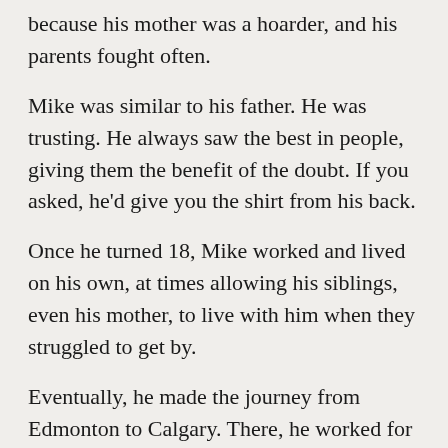because his mother was a hoarder, and his parents fought often.
Mike was similar to his father. He was trusting. He always saw the best in people, giving them the benefit of the doubt. If you asked, he'd give you the shirt from his back.
Once he turned 18, Mike worked and lived on his own, at times allowing his siblings, even his mother, to live with him when they struggled to get by.
Eventually, he made the journey from Edmonton to Calgary. There, he worked for years in the construction industry. Unfortunately, his business partner wasn't trustworthy—he was underpaying and stealing work from Mike.